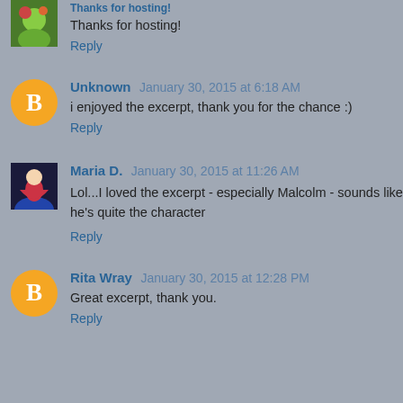Thanks for hosting!
Reply
Unknown  January 30, 2015 at 6:18 AM
i enjoyed the excerpt, thank you for the chance :)
Reply
Maria D.  January 30, 2015 at 11:26 AM
Lol...I loved the excerpt - especially Malcolm - sounds like he's quite the character
Reply
Rita Wray  January 30, 2015 at 12:28 PM
Great excerpt, thank you.
Reply